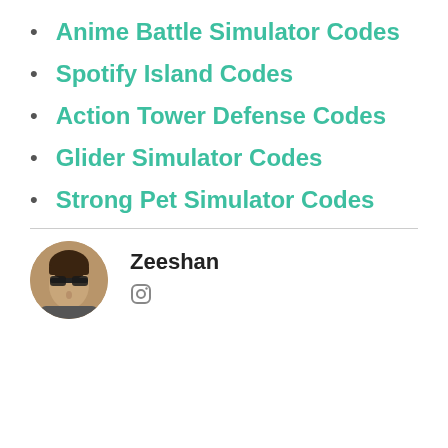Anime Battle Simulator Codes
Spotify Island Codes
Action Tower Defense Codes
Glider Simulator Codes
Strong Pet Simulator Codes
Zeeshan